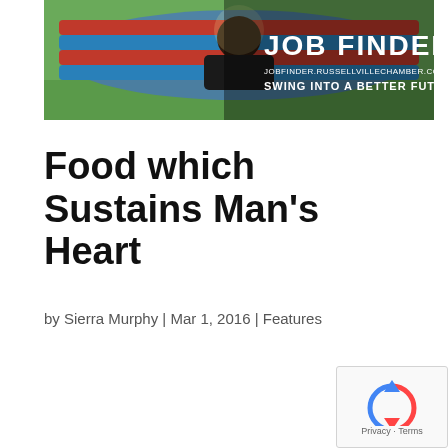[Figure (photo): Advertisement image showing a person sitting in a colorful hammock viewed from behind, with text overlay reading 'JOB FINDER', 'JOBFINDER.RUSSELLVILLECHAMBER.COM', and 'SWING INTO A BETTER FUTURE.']
Food which Sustains Man's Heart
by Sierra Murphy | Mar 1, 2016 | Features
[Figure (other): reCAPTCHA widget showing the Google reCAPTCHA logo with Privacy - Terms text]